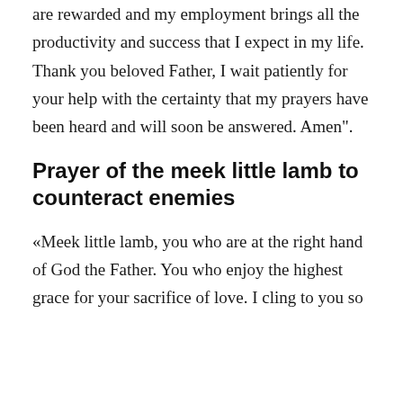are rewarded and my employment brings all the productivity and success that I expect in my life. Thank you beloved Father, I wait patiently for your help with the certainty that my prayers have been heard and will soon be answered. Amen".
Prayer of the meek little lamb to counteract enemies
«Meek little lamb, you who are at the right hand of God the Father. You who enjoy the highest grace for your sacrifice of love. I cling to you so